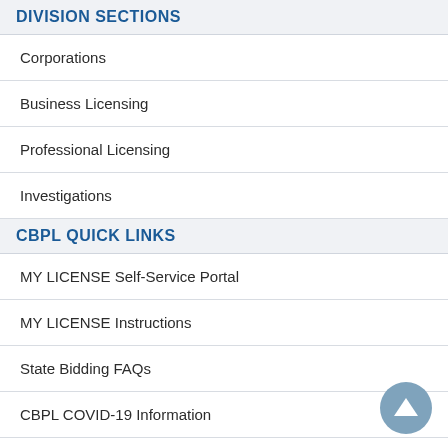DIVISION SECTIONS
Corporations
Business Licensing
Professional Licensing
Investigations
CBPL QUICK LINKS
MY LICENSE Self-Service Portal
MY LICENSE Instructions
State Bidding FAQs
CBPL COVID-19 Information
How To Get Licensed